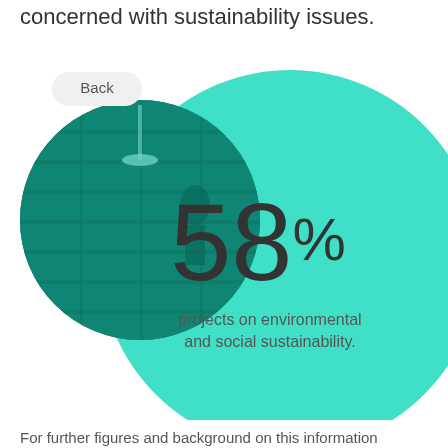concerned with sustainability issues.
[Figure (infographic): A circular teal-tinted photo of an industrial/manufacturing scene overlapping with a large teal circle containing the statistic 58% projects on environmental and social sustainability.]
For further figures and background on this information